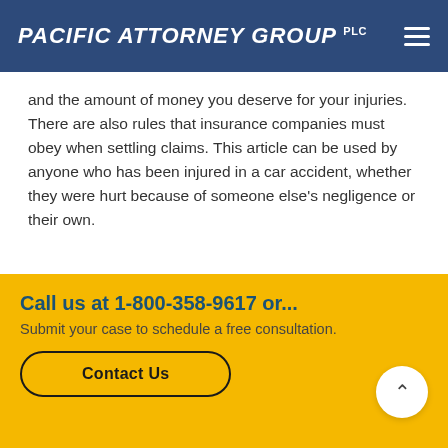PACIFIC ATTORNEY GROUP PLC
and the amount of money you deserve for your injuries. There are also rules that insurance companies must obey when settling claims. This article can be used by anyone who has been injured in a car accident, whether they were hurt because of someone else's negligence or their own.
Should I File a Lawsuit?
Call us at 1-800-358-9617 or...
Submit your case to schedule a free consultation.
Contact Us